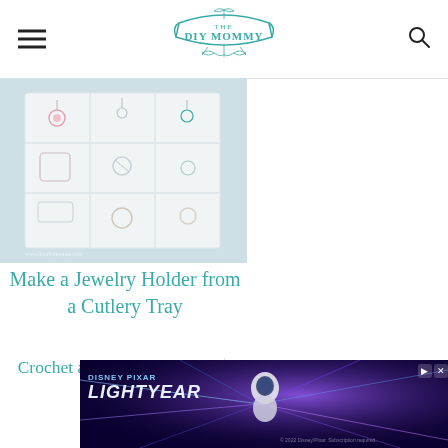The DIY Mommy
[Figure (photo): Photo of a white cutlery tray mounted on wall used as jewelry holder, with earrings and small hooks in each compartment, light blue/grey background]
Make a Jewelry Holder from a Cutlery Tray
Crochet an Organic Cotton Granny Square Blanket
Crochet an Organic Cotton Granny Square Blanket
[Figure (screenshot): Advertisement banner for Disney Pixar Lightyear movie showing an astronaut in a space suit with laser beams in background]